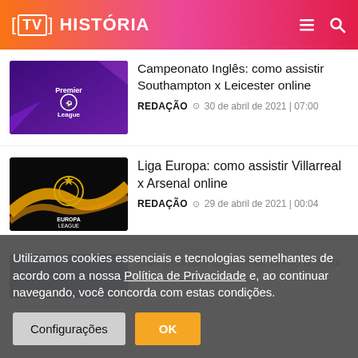[TV] HISTÓRIA
[Figure (screenshot): Premier League logo on purple background]
Campeonato Inglês: como assistir Southampton x Leicester online
REDAÇÃO  🕐  30 de abril de 2021 | 07:00
[Figure (screenshot): UEFA Europa League logo on black background with gold swoosh]
Liga Europa: como assistir Villarreal x Arsenal online
REDAÇÃO  🕐  29 de abril de 2021 | 00:04
[Figure (screenshot): Partial image - Campeonato Espanhol article thumbnail]
Campeonato Espanhol: como assistir
Utilizamos cookies essenciais e tecnologias semelhantes de acordo com a nossa Política de Privacidade e, ao continuar navegando, você concorda com estas condições.
Configurações   OK